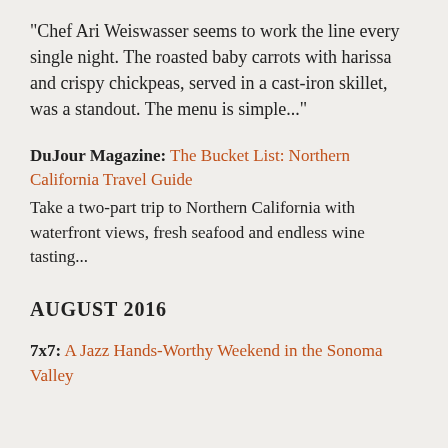"Chef Ari Weiswasser seems to work the line every single night. The roasted baby carrots with harissa and crispy chickpeas, served in a cast-iron skillet, was a standout. The menu is simple..."
DuJour Magazine: The Bucket List: Northern California Travel Guide
Take a two-part trip to Northern California with waterfront views, fresh seafood and endless wine tasting...
AUGUST 2016
7x7: A Jazz Hands-Worthy Weekend in the Sonoma Valley